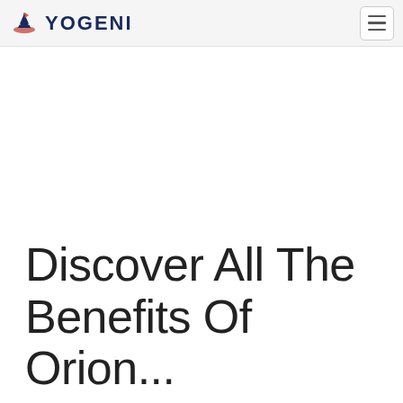YOGENI
[Figure (other): Large blank white hero image area below navigation bar]
Discover All The Benefits Of Oriental...